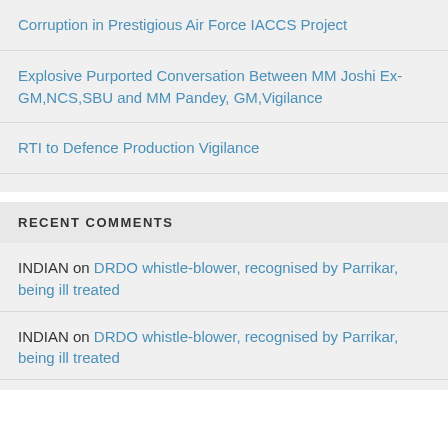Corruption in Prestigious Air Force IACCS Project
Explosive Purported Conversation Between MM Joshi Ex-GM,NCS,SBU and MM Pandey, GM,Vigilance
RTI to Defence Production Vigilance
RECENT COMMENTS
INDIAN on DRDO whistle-blower, recognised by Parrikar, being ill treated
INDIAN on DRDO whistle-blower, recognised by Parrikar, being ill treated